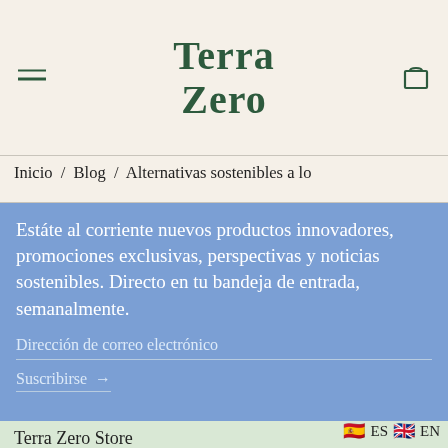Terra Zero
Inicio / Blog / Alternativas sostenibles a lo
Estáte al corriente nuevos productos innovadores, promociones exclusivas, perspectivas y noticias sostenibles. Directo en tu bandeja de entrada, semanalmente.
Dirección de correo electrónico
Suscribirse →
Terra Zero Store
ES EN